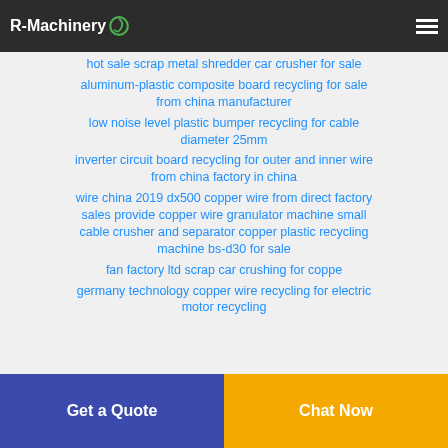R-Machinery
hot sale scrap metal shredder car crusher for sale
aluminum-plastic composite board recycling for sale from china manufacturer
low noise level plastic bumper recycling for cable diameter 25mm
inverter circuit board recycling for outer and inner wire from china factory in china
wire china 2019 dx500 copper wire from direct factory sales provide copper wire granulator machine small cable crusher and separator copper plastic recycling machine bs-d30 for sale
fan factory ltd scrap car crushing for coppe
germany technology copper wire recycling for electric motor recycling
Get a Quote
Chat Now